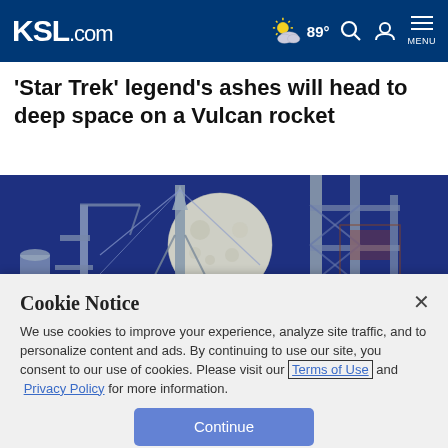KSL.com | 89° | Search | Account | Menu
'Star Trek' legend's ashes will head to deep space on a Vulcan rocket
[Figure (photo): Rocket launch structure with full moon in background against deep blue sky]
Cookie Notice
We use cookies to improve your experience, analyze site traffic, and to personalize content and ads. By continuing to use our site, you consent to our use of cookies. Please visit our Terms of Use and Privacy Policy for more information.
Continue